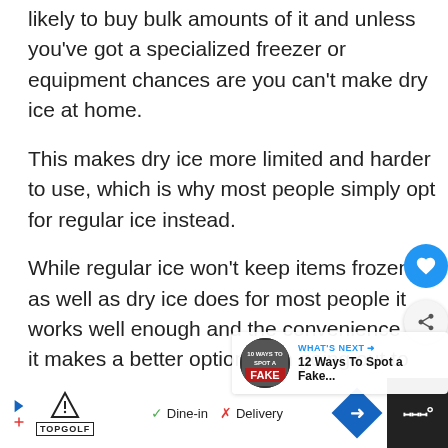likely to buy bulk amounts of it and unless you've got a specialized freezer or equipment chances are you can't make dry ice at home.
This makes dry ice more limited and harder to use, which is why most people simply opt for regular ice instead.
While regular ice won't keep items frozen as well as dry ice does for most people it works well enough and the convenience of it makes a better option than going out to buy
WHAT'S NEXT → 12 Ways To Spot a Fake...